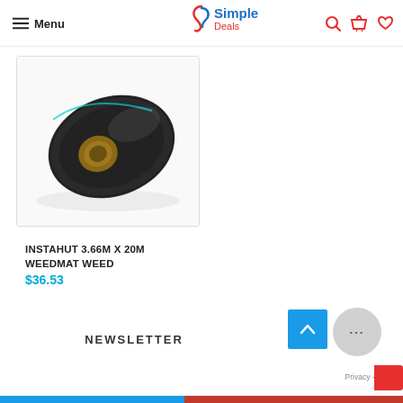Menu | Simple Deals
[Figure (photo): A rolled black weed mat fabric displayed on a white background]
INSTAHUT 3.66M X 20M WEEDMAT WEED
$36.53
NEWSLETTER
Privacy - Terms